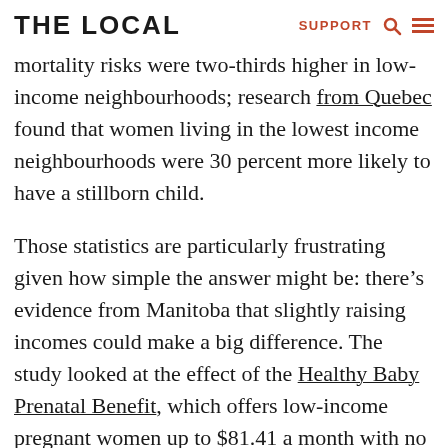THE LOCAL | SUPPORT
mortality risks were two-thirds higher in low-income neighbourhoods; research from Quebec found that women living in the lowest income neighbourhoods were 30 percent more likely to have a stillborn child.
Those statistics are particularly frustrating given how simple the answer might be: there's evidence from Manitoba that slightly raising incomes could make a big difference. The study looked at the effect of the Healthy Baby Prenatal Benefit, which offers low-income pregnant women up to $81.41 a month with no strings attached. A study in Pediatrics found that the intervention reduced low birth weight births by